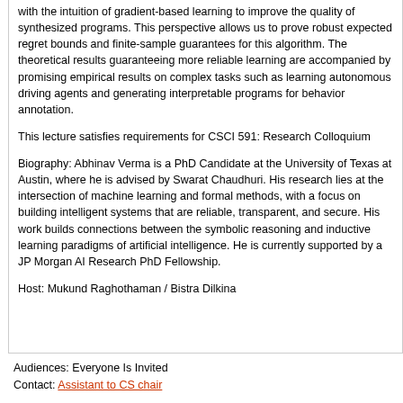with the intuition of gradient-based learning to improve the quality of synthesized programs. This perspective allows us to prove robust expected regret bounds and finite-sample guarantees for this algorithm. The theoretical results guaranteeing more reliable learning are accompanied by promising empirical results on complex tasks such as learning autonomous driving agents and generating interpretable programs for behavior annotation.
This lecture satisfies requirements for CSCI 591: Research Colloquium
Biography: Abhinav Verma is a PhD Candidate at the University of Texas at Austin, where he is advised by Swarat Chaudhuri. His research lies at the intersection of machine learning and formal methods, with a focus on building intelligent systems that are reliable, transparent, and secure. His work builds connections between the symbolic reasoning and inductive learning paradigms of artificial intelligence. He is currently supported by a JP Morgan AI Research PhD Fellowship.
Host: Mukund Raghothaman / Bistra Dilkina
Audiences: Everyone Is Invited
Contact: Assistant to CS chair